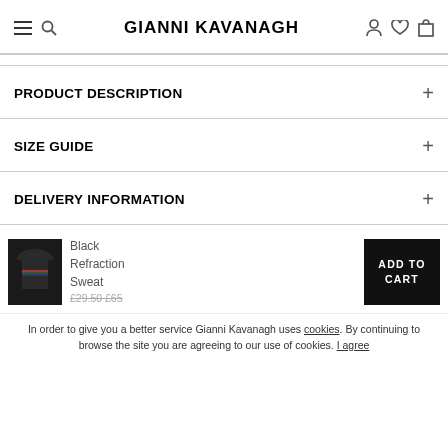GIANNI KAVANAGH
PRODUCT DESCRIPTION
SIZE GUIDE
DELIVERY INFORMATION
[Figure (photo): Black Refraction Sweat product thumbnail]
Black Refraction Sweat £29.50 £65
ADD TO CART
In order to give you a better service Gianni Kavanagh uses cookies. By continuing to browse the site you are agreeing to our use of cookies. I agree